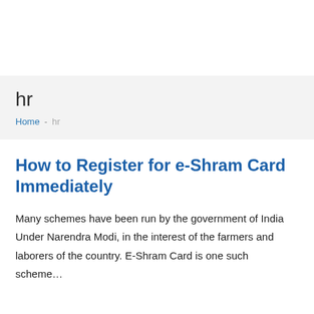hr
Home - hr
How to Register for e-Shram Card Immediately
Many schemes have been run by the government of India Under Narendra Modi, in the interest of the farmers and laborers of the country. E-Shram Card is one such scheme…